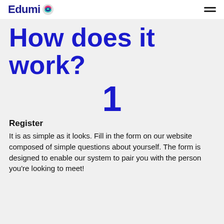Edumi
How does it work?
1
Register
It is as simple as it looks. Fill in the form on our website composed of simple questions about yourself. The form is designed to enable our system to pair you with the person you're looking to meet!